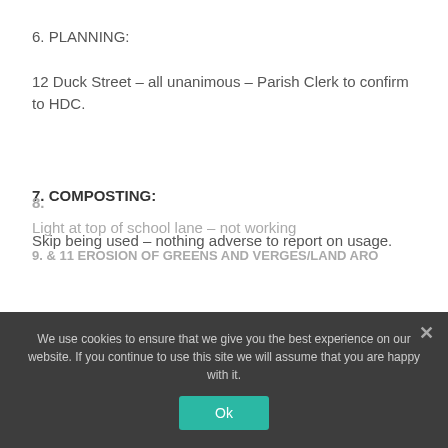6. PLANNING:
12 Duck Street – all unanimous – Parish Clerk to confirm to HDC.
7. COMPOSTING:
Skip being used – nothing adverse to report on usage.
8. (partially visible behind overlay)
Light at top of school lane – not working
9. & 11 EROSION OF GREENS AND VERGES/LAND ARO...
We use cookies to ensure that we give you the best experience on our website. If you continue to use this site we will assume that you are happy with it.